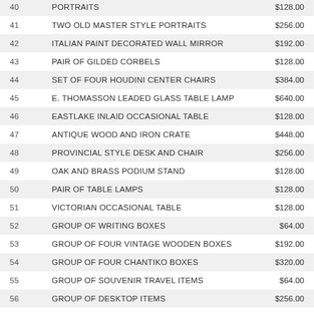| # | Description | Price |
| --- | --- | --- |
| 40 | PORTRAITS | $128.00 |
| 41 | TWO OLD MASTER STYLE PORTRAITS | $256.00 |
| 42 | ITALIAN PAINT DECORATED WALL MIRROR | $192.00 |
| 43 | PAIR OF GILDED CORBELS | $128.00 |
| 44 | SET OF FOUR HOUDINI CENTER CHAIRS | $384.00 |
| 45 | E. THOMASSON LEADED GLASS TABLE LAMP | $640.00 |
| 46 | EASTLAKE INLAID OCCASIONAL TABLE | $128.00 |
| 47 | ANTIQUE WOOD AND IRON CRATE | $448.00 |
| 48 | PROVINCIAL STYLE DESK AND CHAIR | $256.00 |
| 49 | OAK AND BRASS PODIUM STAND | $128.00 |
| 50 | PAIR OF TABLE LAMPS | $128.00 |
| 51 | VICTORIAN OCCASIONAL TABLE | $128.00 |
| 52 | GROUP OF WRITING BOXES | $64.00 |
| 53 | GROUP OF FOUR VINTAGE WOODEN BOXES | $192.00 |
| 54 | GROUP OF FOUR CHANTIKO BOXES | $320.00 |
| 55 | GROUP OF SOUVENIR TRAVEL ITEMS | $64.00 |
| 56 | GROUP OF DESKTOP ITEMS | $256.00 |